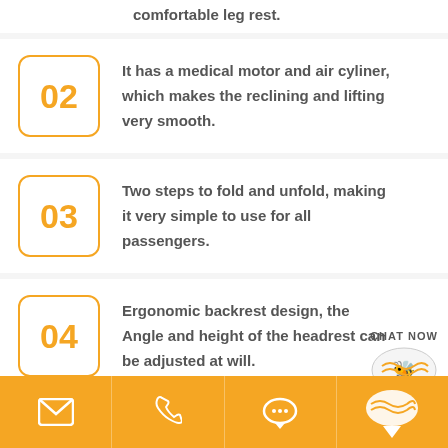comfortable leg rest.
02 It has a medical motor and air cyliner, which makes the reclining and lifting very smooth.
03 Two steps to fold and unfold, making it very simple to use for all passengers.
04 Ergonomic backrest design, the Angle and height of the headrest can be adjusted at will.
Email | Phone | Chat | Chat Now